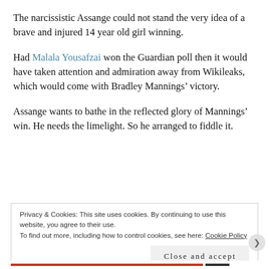The narcissistic Assange could not stand the very idea of a brave and injured 14 year old girl winning.
Had Malala Yousafzai won the Guardian poll then it would have taken attention and admiration away from Wikileaks, which would come with Bradley Mannings’ victory.
Assange wants to bathe in the reflected glory of Mannings’ win. He needs the limelight. So he arranged to fiddle it.
Privacy & Cookies: This site uses cookies. By continuing to use this website, you agree to their use.
To find out more, including how to control cookies, see here: Cookie Policy
Close and accept